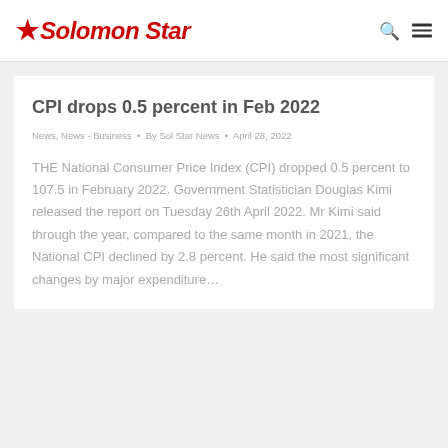Solomon Star
CPI drops 0.5 percent in Feb 2022
News, News - Business • By Sol Star News • April 28, 2022
THE National Consumer Price Index (CPI) dropped 0.5 percent to 107.5 in February 2022. Government Statistician Douglas Kimi released the report on Tuesday 26th April 2022. Mr Kimi said through the year, compared to the same month in 2021, the National CPI declined by 2.8 percent. He said the most significant changes by major expenditure...